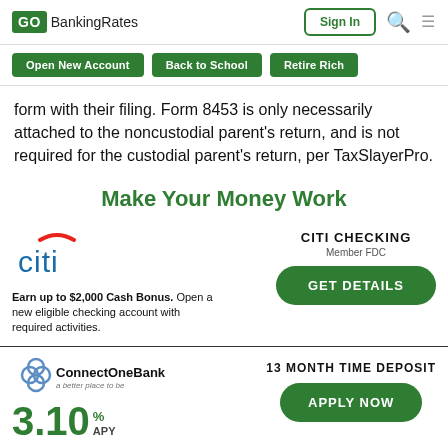GOBankingRates | Sign In
Open New Account
Back to School
Retire Rich
form with their filing. Form 8453 is only necessarily attached to the noncustodial parent’s return, and is not required for the custodial parent’s return, per TaxSlayerPro.
Make Your Money Work
[Figure (infographic): Citi bank advertisement: Citi logo with arc, text 'Earn up to $2,000 Cash Bonus. Open a new eligible checking account with required activities.' Right side: CITI CHECKING, Member FDIC, GET DETAILS button]
[Figure (infographic): ConnectOneBank advertisement: logo, 3.10% APY rate, 13 MONTH TIME DEPOSIT, APPLY NOW button]